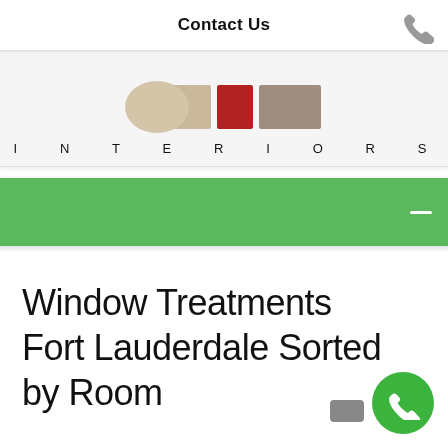Contact Us
[Figure (logo): Interiors company logo with color swatches (tan, red, taupe) and the word INTERIORS in spaced capital letters]
[Figure (other): Green navigation bar with a hamburger/menu icon (white lines) on the right side]
Window Treatments Fort Lauderdale Sorted by Room